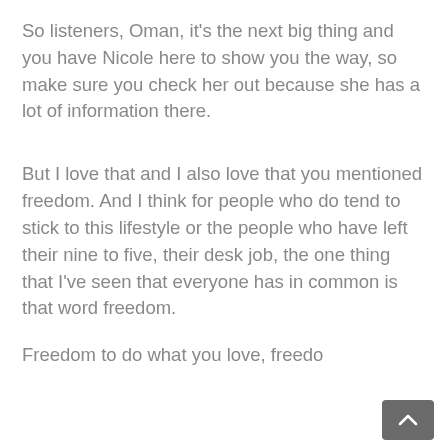So listeners, Oman, it's the next big thing and you have Nicole here to show you the way, so make sure you check her out because she has a lot of information there.
But I love that and I also love that you mentioned freedom. And I think for people who do tend to stick to this lifestyle or the people who have left their nine to five, their desk job, the one thing that I've seen that everyone has in common is that word freedom.
Freedom to do what you love, freedo…